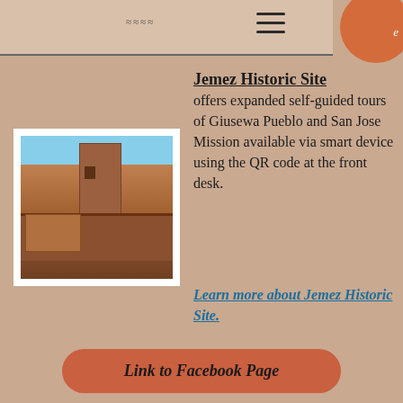[Figure (photo): Photo of ancient stone ruins, showing a tower and stone walls of Giusewa Pueblo / San Jose Mission at Jemez Historic Site against a blue sky]
Jemez Historic Site offers expanded self-guided tours of Giusewa Pueblo and San Jose Mission available via smart device using the QR code at the front desk.
Learn more about Jemez Historic Site.
Link to Facebook Page
*************************
[Figure (photo): Photo of people sitting around a table, appears to be a workshop or meeting setting with a green board in the background]
[Figure (photo): Close-up photo of reddish-brown earth or clay material]